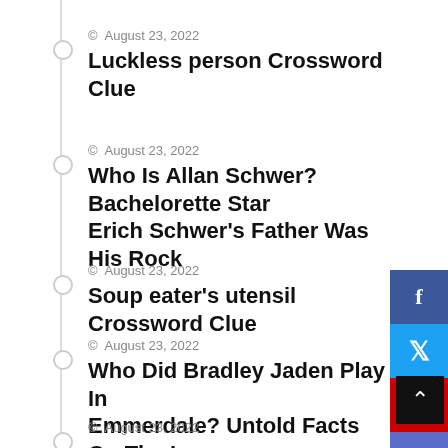© August 23, 2022
Luckless person Crossword Clue
© August 23, 2022
Who Is Allan Schwer? Bachelorette Star Erich Schwer's Father Was His Rock
© August 23, 2022
Soup eater's utensil Crossword Clue
© August 23, 2022
Who Did Bradley Jaden Play In Emmerdale? Untold Facts On The Les Miserables London Cast
© August 23, 2022